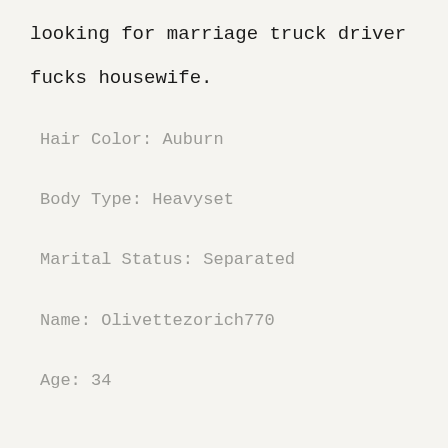looking for marriage truck driver
fucks housewife.
Hair Color: Auburn
Body Type: Heavyset
Marital Status: Separated
Name: Olivettezorich770
Age: 34